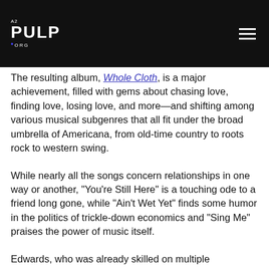A2 PULP ORG
The resulting album, Whole Cloth, is a major achievement, filled with gems about chasing love, finding love, losing love, and more—and shifting among various musical subgenres that all fit under the broad umbrella of Americana, from old-time country to roots rock to western swing.
While nearly all the songs concern relationships in one way or another, “You’re Still Here” is a touching ode to a friend long gone, while “Ain’t Wet Yet” finds some humor in the politics of trickle-down economics and “Sing Me” praises the power of music itself.
Edwards, who was already skilled on multiple instruments, uses his versatile abilities to great effect throughout the album, such as a warm acoustic guitar